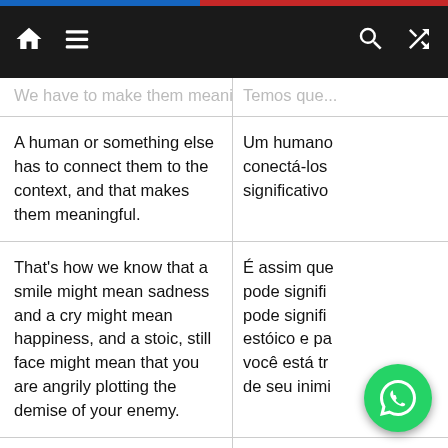Navigation bar with home, menu, search, and shuffle icons
We have to make them meaningful. | Temos que...
A human or something else has to connect them to the context, and that makes them meaningful. | Um humano... conectá-los... significativo
That's how we know that a smile might mean sadness and a cry might mean happiness, and a stoic, still face might mean that you are angrily plotting the demise of your enemy. | É assim que... pode signifi... pode signifi... estóico e pa... você está tr... de seu inimi
Now, if I haven't already gone out on a limb, I'll just edge out on that limb a little further and tell you that the way that you experience your own emotion is... | Agora, se eu... risco, vou m... di... cê... experimenta...